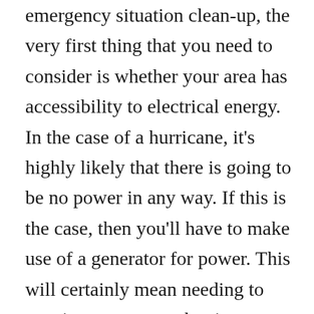emergency situation clean-up, the very first thing that you need to consider is whether your area has accessibility to electrical energy. In the case of a hurricane, it's highly likely that there is going to be no power in any way. If this is the case, then you'll have to make use of a generator for power. This will certainly mean needing to acquire a generator, but it may additionally save you money on gas. When you have this done, you have to consider the other parts of the residence that require to be cleaned. One of the most awful parts of a residence is the basement. If you have a flooded cellar, after that you require to have it expertly tidied up immediately. It might be too late to conserve the location, so having